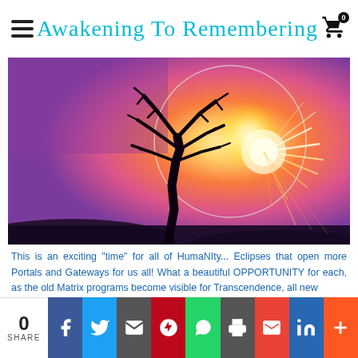Awakening To Remembering
[Figure (photo): Silhouette of a bare tree against a vivid pink and purple sky with a solar eclipse showing a bright corona/halo behind the tree, with sunrays bursting from the right side]
This is an exciting "time" for all of HumaNIty... Eclipses that open more Portals and Gateways for us all! What a beautiful OPPORTUNITY for each, as the old Matrix programs become visible for Transcendence, all new
0 SHARE | Facebook | Twitter | Email | Pinterest | WhatsApp | Print | Gmail | LinkedIn | More